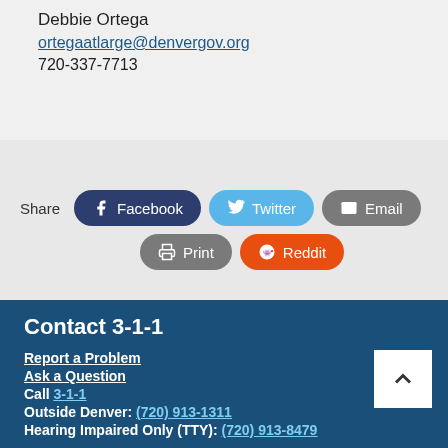Debbie Ortega
ortegaatlarge@denvergov.org
720-337-7713
Share
Facebook Twitter Email Print Reddit
Contact 3-1-1
Report a Problem
Ask a Question
Call 3-1-1
Outside Denver: (720) 913-1311
Hearing Impaired Only (TTY): (720) 913-8479